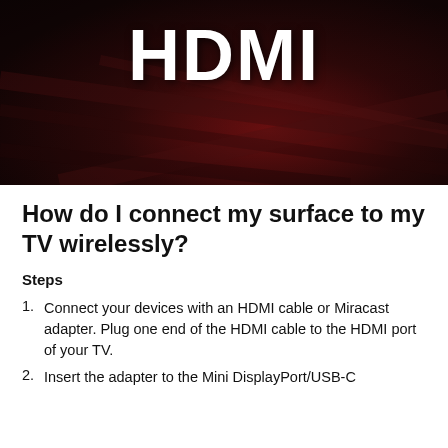[Figure (photo): Dark background photo with 'HDMI' text displayed in large white bold letters over a dark reddish-brown surface.]
How do I connect my surface to my TV wirelessly?
Steps
Connect your devices with an HDMI cable or Miracast adapter. Plug one end of the HDMI cable to the HDMI port of your TV.
Insert the adapter to the Mini DisplayPort/USB-C